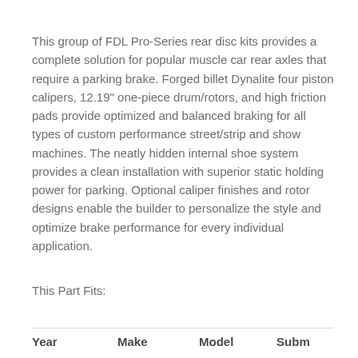This group of FDL Pro-Series rear disc kits provides a complete solution for popular muscle car rear axles that require a parking brake. Forged billet Dynalite four piston calipers, 12.19" one-piece drum/rotors, and high friction pads provide optimized and balanced braking for all types of custom performance street/strip and show machines. The neatly hidden internal shoe system provides a clean installation with superior static holding power for parking. Optional caliper finishes and rotor designs enable the builder to personalize the style and optimize brake performance for every individual application.
This Part Fits:
| Year | Make | Model | Subm |
| --- | --- | --- | --- |